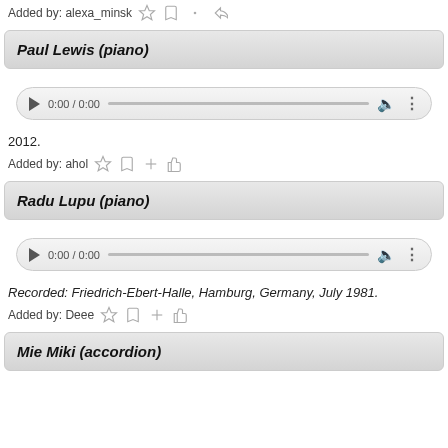Added by: alexa_minsk
Paul Lewis (piano)
[Figure (other): Audio player widget showing 0:00 / 0:00 with play button, progress bar, volume and menu icons]
2012.
Added by: ahol
Radu Lupu (piano)
[Figure (other): Audio player widget showing 0:00 / 0:00 with play button, progress bar, volume and menu icons]
Recorded: Friedrich-Ebert-Halle, Hamburg, Germany, July 1981.
Added by: Deee
Mie Miki (accordion)